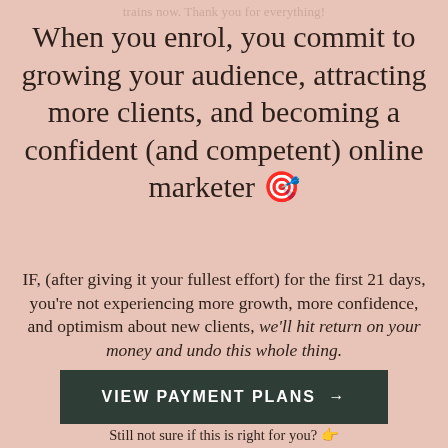trains now. Thank you for everything!
When you enrol, you commit to growing your audience, attracting more clients, and becoming a confident (and competent) online marketer 🎯
IF, (after giving it your fullest effort) for the first 21 days, you're not experiencing more growth, more confidence, and optimism about new clients, we'll hit return on your money and undo this whole thing.
VIEW PAYMENT PLANS →
Still not sure if this is right for you? 👉